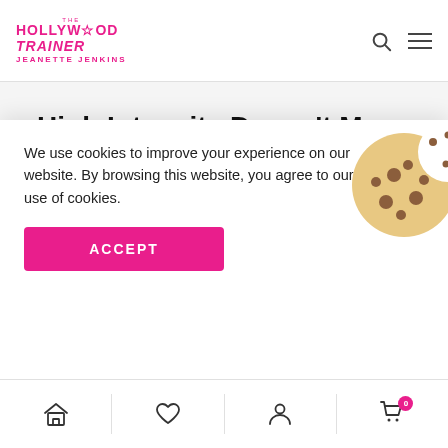The Hollywood Trainer Jeanette Jenkins
High Intensity Doesn't Mean High Impact
Home / Fitness / High Intensity Doesn't Mean High Impact
[Figure (illustration): Cookie icon for cookie consent banner]
We use cookies to improve your experience on our website. By browsing this website, you agree to our use of cookies.
ACCEPT
Home / Favorites / Account / Cart (0)